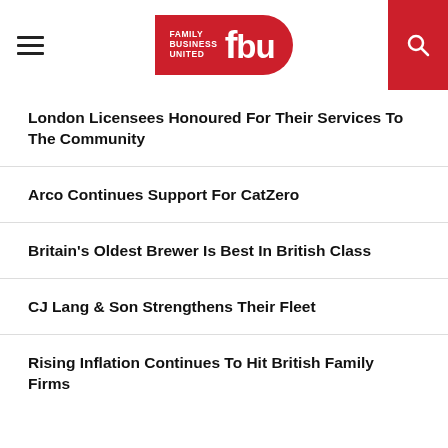Family Business United (fbu)
London Licensees Honoured For Their Services To The Community
Arco Continues Support For CatZero
Britain's Oldest Brewer Is Best In British Class
CJ Lang & Son Strengthens Their Fleet
Rising Inflation Continues To Hit British Family Firms